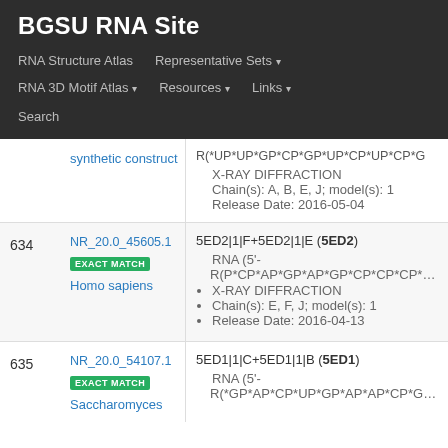BGSU RNA Site
RNA Structure Atlas
Representative Sets ▾
RNA 3D Motif Atlas ▾
Resources ▾
Links ▾
Search
| # | ID | Details |
| --- | --- | --- |
|  | synthetic construct | R(*UP*UP*GP*CP*GP*UP*CP*UP*CP*G...
X-RAY DIFFRACTION
Chain(s): A, B, E, J; model(s): 1
Release Date: 2016-05-04 |
| 634 | NR_20.0_45605.1
EXACT MATCH
Homo sapiens | 5ED2|1|F+5ED2|1|E (5ED2)
RNA (5'-R(P*CP*AP*GP*AP*GP*CP*CP*CP*CP*...
X-RAY DIFFRACTION
Chain(s): E, F, J; model(s): 1
Release Date: 2016-04-13 |
| 635 | NR_20.0_54107.1
EXACT MATCH
Saccharomyces | 5ED1|1|C+5ED1|1|B (5ED1)
RNA (5'-R(*GP*AP*CP*UP*GP*AP*AP*CP*GP*A... |